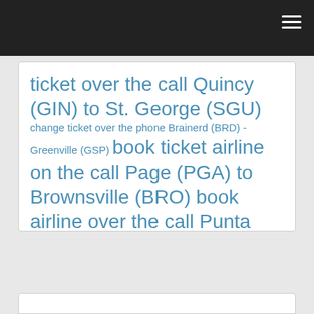ticket over the call Quincy (GIN) to St. George (SGU) change ticket over the phone Brainerd (BRD) - Greenville (GSP) book ticket airline on the call Page (PGA) to Brownsville (BRO) book airline over the call Punta Gorda (PGD) - Peach Springs (1G4) order ticket by the call Watertown (ART) - Petersburg (PSG)